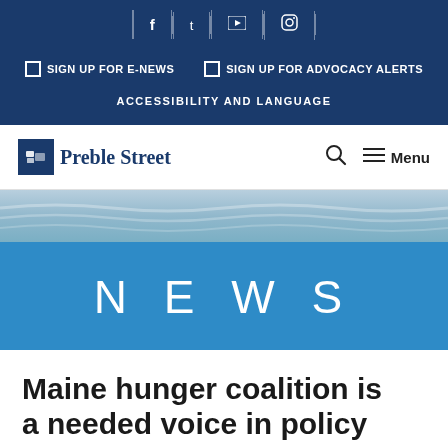f  |  Twitter  |  YouTube  |  Instagram
☐ SIGN UP FOR E-NEWS
☐ SIGN UP FOR ADVOCACY ALERTS
ACCESSIBILITY AND LANGUAGE
[Figure (logo): Preble Street logo with blue square icon and serif text]
Menu
[Figure (photo): Blue-toned banner image with water or textile texture]
NEWS
Maine hunger coalition is a needed voice in policy